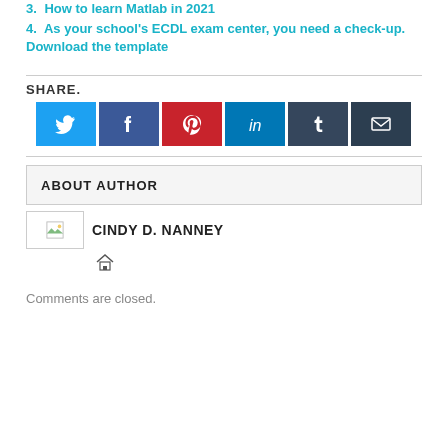3. How to learn Matlab in 2021
4. As your school's ECDL exam center, you need a check-up. Download the template
SHARE.
[Figure (other): Social share buttons: Twitter (blue), Facebook (dark blue), Pinterest (red), LinkedIn (teal), Tumblr (dark slate), Email (dark)]
ABOUT AUTHOR
[Figure (photo): Author avatar image placeholder with small green image icon]
CINDY D. NANNEY
[Figure (other): Home icon link]
Comments are closed.